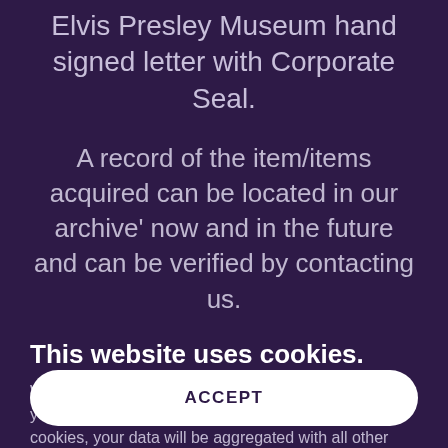Elvis Presley Museum hand signed letter with Corporate Seal.
A record of the item/items acquired can be located in our archive' now and in the future and can be verified by contacting us.
This website uses cookies.
We use cookies to analyze website traffic and optimize your website experience. By accepting our use of cookies, your data will be aggregated with all other user data.
ACCEPT